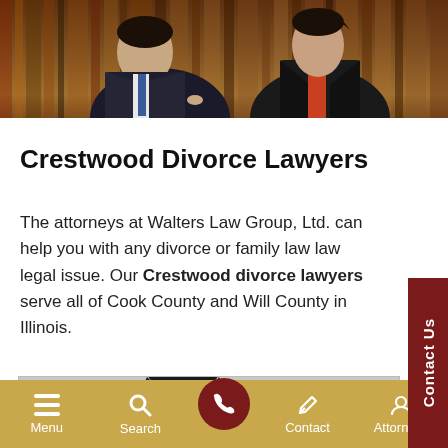[Figure (photo): Top banner photo of two attorneys (male in dark suit on left, female in black jacket with red top on right) standing in front of a dark wooden bookshelf background.]
Crestwood Divorce Lawyers
The attorneys at Walters Law Group, Ltd. can help you with any divorce or family law law legal issue. Our Crestwood divorce lawyers serve all of Cook County and Will County in Illinois.
[Figure (photo): Black and white photo of two attorneys, a woman with long dark hair in the foreground and a man partially visible in the lower right.]
Menu   Search   [phone button]   Contact   Attorneys